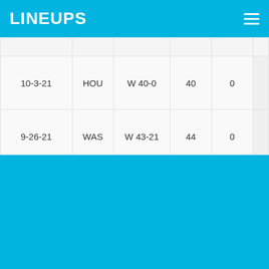LINEUPS
| 10-3-21 | HOU | W 40-0 | 40 | 0 |  |
| 9-26-21 | WAS | W 43-21 | 44 | 0 |  |
| 9-19-21 | MIA |  | 18 | 1 |  |